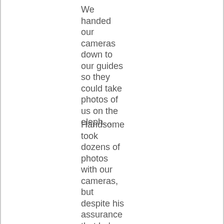We handed our cameras down to our guides so they could take photos of us on the eleph…
Handsome took dozens of photos with our cameras, but despite his assurance that he's …